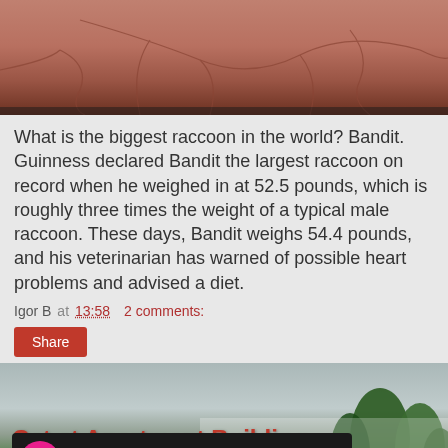[Figure (photo): Close-up of cracked dry reddish-brown surface, likely dried mud or skin texture]
What is the biggest raccoon in the world? Bandit. Guinness declared Bandit the largest raccoon on record when he weighed in at 52.5 pounds, which is roughly three times the weight of a typical male raccoon. These days, Bandit weighs 54.4 pounds, and his veterinarian has warned of possible heart problems and advised a diet.
Igor B at 13:58   2 comments:
Share
Cat at Apartment Building
[Figure (screenshot): Video thumbnail showing cat at apartment building video with pink play button circle and three-dot menu icon]